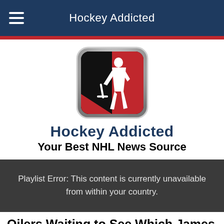Hockey Addicted
[Figure (logo): Hockey Addicted app logo: rounded square icon with hockey player silhouette in white on black and red background, with silver/chrome border]
Hockey Addicted
Your Best NHL News Source
Playlist Error: This content is currently unavailable from within your country.
Oilers Waiting to See Which James Neal Shows up This Season